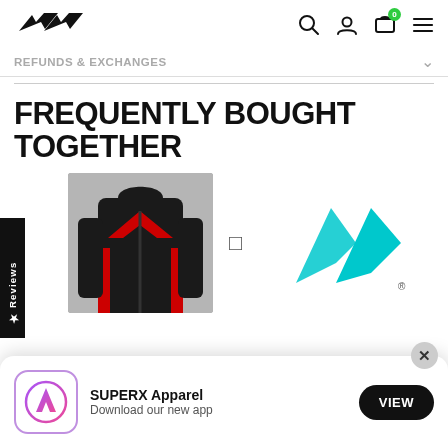[Figure (screenshot): Website navigation bar with logo (lightning bolt marks), search icon, user icon, cart icon with badge '0', and hamburger menu icon]
REFUNDS & EXCHANGES
FREQUENTLY BOUGHT TOGETHER
[Figure (photo): Black and red zip-up hoodie jacket on a male model, chest and torso only visible]
[Figure (logo): Cyan/teal angular logo mark (looks like a stylized letter A or mountain peak), with registered trademark symbol]
[Figure (screenshot): App download banner: SUPERX Apparel app icon (App Store icon in purple/pink gradient circle), text 'SUPERX Apparel / Download our new app', VIEW button in black pill shape, close X button]
$150.00 $121.00